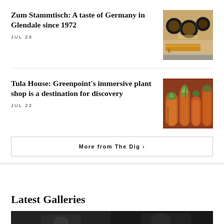Zum Stammtisch: A taste of Germany in Glendale since 1972
JUL 29
[Figure (photo): Photo of German food items including mustard and bread on a decorative blue and white plate]
Tula House: Greenpoint's immersive plant shop is a destination for discovery
JUL 22
[Figure (photo): Photo of various succulents and plants in terracotta pots at a plant shop]
More from The Dig ›
Latest Galleries
[Figure (photo): Dark gallery image strip at the bottom of the page]